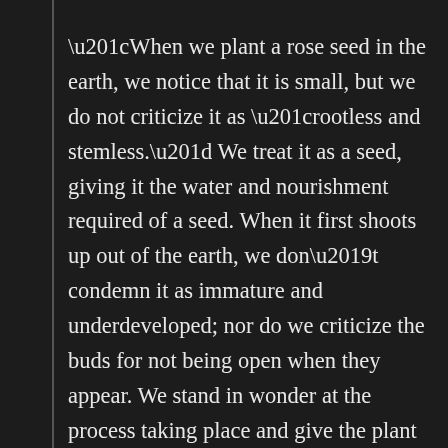“When we plant a rose seed in the earth, we notice that it is small, but we do not criticize it as “rootless and stemless.” We treat it as a seed, giving it the water and nourishment required of a seed. When it first shoots up out of the earth, we don’t condemn it as immature and underdeveloped; nor do we criticize the buds for not being open when they appear. We stand in wonder at the process taking place and give the plant the care it needs at each stage of its development. The rose is a rose from the time it is a seed to the time it